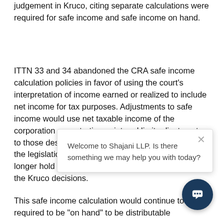judgement in Kruco, citing separate calculations were required for safe income and safe income on hand.
ITTN 33 and 34 abandoned the CRA safe income calculation policies in favor of using the court's interpretation of income earned or realized to include net income for tax purposes. Adjustments to safe income would use net taxable income of the corporation as a starting point and limit adjustments to those described in paragraphs (b), (c), and (d) of the legislation. The "phantom income" doctrine no longer hold relevance as it has been overturned by the Kruco decisions.
This safe income calculation would continue to be required to be "on hand" to be distributable
[Figure (other): Chat popup overlay from Shajani LLP website with close button (×) and text: 'Welcome to Shajani LLP. Is there something we may help you with today?' and a dark blue circular chat button icon at bottom right.]